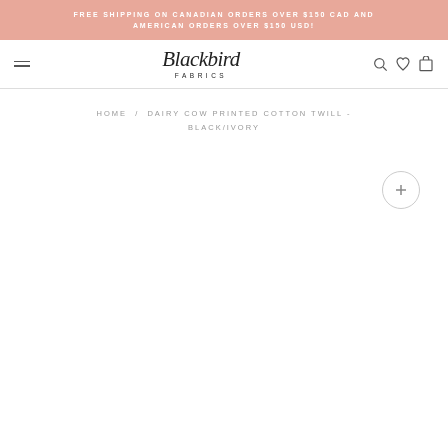FREE SHIPPING ON CANADIAN ORDERS OVER $150 CAD AND AMERICAN ORDERS OVER $150 USD!
Blackbird FABRICS
HOME / DAIRY COW PRINTED COTTON TWILL - BLACK/IVORY
[Figure (other): Product detail page with zoom button and mostly white image area]